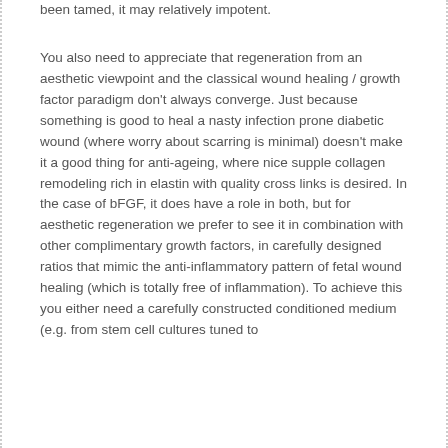been tamed, it may relatively impotent.
You also need to appreciate that regeneration from an aesthetic viewpoint and the classical wound healing / growth factor paradigm don't always converge. Just because something is good to heal a nasty infection prone diabetic wound (where worry about scarring is minimal) doesn't make it a good thing for anti-ageing, where nice supple collagen remodeling rich in elastin with quality cross links is desired. In the case of bFGF, it does have a role in both, but for aesthetic regeneration we prefer to see it in combination with other complimentary growth factors, in carefully designed ratios that mimic the anti-inflammatory pattern of fetal wound healing (which is totally free of inflammation). To achieve this you either need a carefully constructed conditioned medium (e.g. from stem cell cultures tuned to